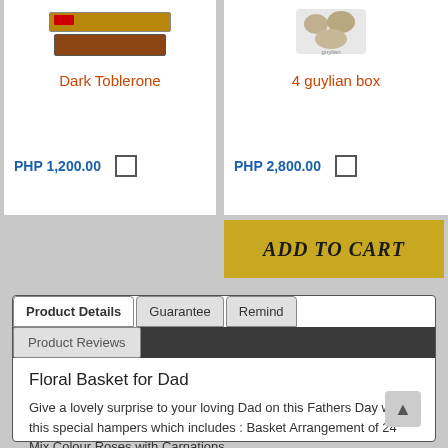[Figure (photo): Dark Toblerone chocolate bar product image]
Dark Toblerone
PHP 1,200.00
[Figure (photo): 4 guylian box product image]
4 guylian box
PHP 2,800.00
ADD TO CART
Product Details | Guarantee | Remind | Product Reviews
Floral Basket for Dad
Give a lovely surprise to your loving Dad on this Fathers Day with this special hampers which includes : Basket Arrangement of 24 Mix Colour Roses with Carnations.